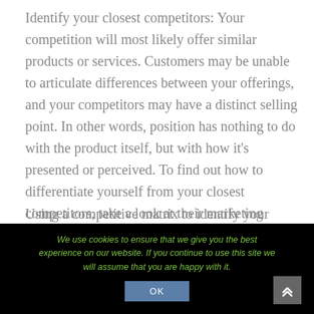Identify your closest competitors: Your competition will most likely offer similar products or services. Customers may be unable to articulate differences between your offerings, and your competitors may have a distinct selling point. In other words, position has nothing to do with the product itself, but with how it's presented or perceived. To find out how to differentiate yourself from your closest competitors, take a look at their marketing channels and strategies.
Using a competitive matrix to identify your competitors can help you decide what kind of product or service to sell
We use cookies to ensure that we give you the best experience on our website. If you continue to use this site we will assume that you are happy with it.